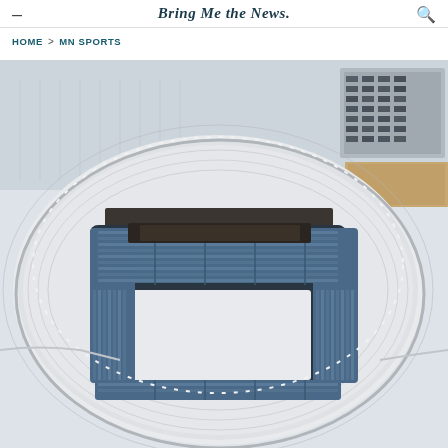Bring Me the News.
HOME > MN SPORTS
[Figure (photo): Aerial drone view of a large NFL stadium covered in snow, viewed from above at an angle. The stadium has a white ETFE roof canopy with an open top showing the seating bowl inside. The seats appear in shades of blue. Surrounding area shows snowy parking lots and roads. The upper right corner shows a parking structure.]